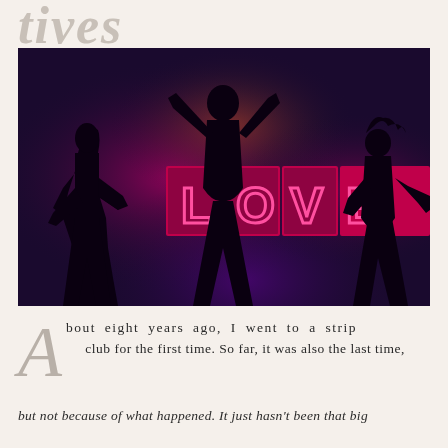tives
[Figure (photo): Three silhouettes of women dancing in front of a neon sign that reads 'LOVE' in pink/magenta neon lights against a dark purple background]
About eight years ago, I went to a strip club for the first time. So far, it was also the last time,
but not because of what happened. It just hasn't been that big